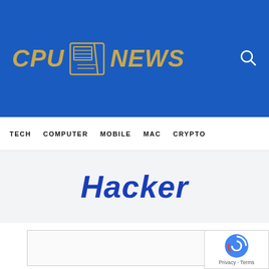CPU NEWS
TECH  COMPUTER  MOBILE  MAC  CRYPTO
Hacker
[Figure (other): Empty article card placeholder]
[Figure (logo): Google reCAPTCHA badge with Privacy and Terms links]